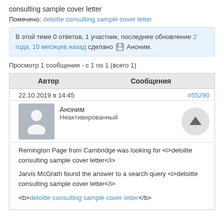consulting sample cover letter
Помечено: deloitte consulting sample cover letter
В этой теме 0 ответов, 1 участник, последнее обновление 2 года, 10 месяцев назад сделано  Аноним.
Просмотр 1 сообщения - с 1 по 1 (всего 1)
| Автор | Сообщения |
| --- | --- |
| 22.10.2019 в 14:45 | #55290 |
| Аноним
Неактивированный |  |
| Remington Page from Cambridge was looking for <i>deloitte consulting sample cover letter</i>

Jarvis McGrath found the answer to a search query <i>deloitte consulting sample cover letter</i>

<b>deloitte consulting sample cover letter</b> |  |